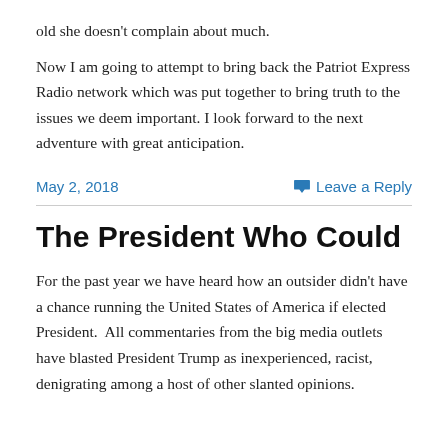old she doesn't complain about much.
Now I am going to attempt to bring back the Patriot Express Radio network which was put together to bring truth to the issues we deem important. I look forward to the next adventure with great anticipation.
May 2, 2018        Leave a Reply
The President Who Could
For the past year we have heard how an outsider didn't have a chance running the United States of America if elected President.  All commentaries from the big media outlets have blasted President Trump as inexperienced, racist, denigrating among a host of other slanted opinions.